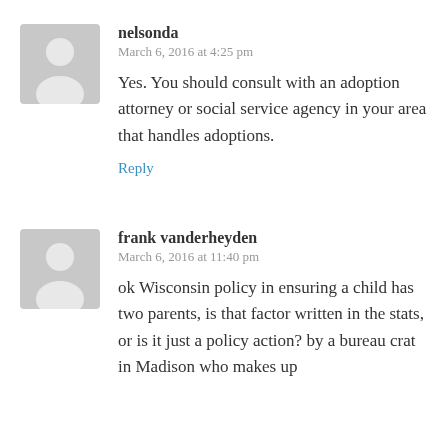nelsonda
March 6, 2016 at 4:25 pm
Yes. You should consult with an adoption attorney or social service agency in your area that handles adoptions.
Reply
frank vanderheyden
March 6, 2016 at 11:40 pm
ok Wisconsin policy in ensuring a child has two parents, is that factor written in the stats, or is it just a policy action? by a bureau crat in Madison who makes up